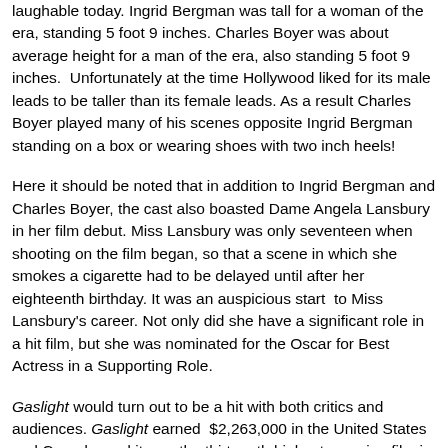laughable today. Ingrid Bergman was tall for a woman of the era, standing 5 foot 9 inches. Charles Boyer was about average height for a man of the era, also standing 5 foot 9 inches. Unfortunately at the time Hollywood liked for its male leads to be taller than its female leads. As a result Charles Boyer played many of his scenes opposite Ingrid Bergman standing on a box or wearing shoes with two inch heels!
Here it should be noted that in addition to Ingrid Bergman and Charles Boyer, the cast also boasted Dame Angela Lansbury in her film debut. Miss Lansbury was only seventeen when shooting on the film began, so that a scene in which she smokes a cigarette had to be delayed until after her eighteenth birthday. It was an auspicious start to Miss Lansbury's career. Not only did she have a significant role in a hit film, but she was nominated for the Oscar for Best Actress in a Supporting Role.
Gaslight would turn out to be a hit with both critics and audiences. Gaslight earned $2,263,000 in the United States and Canada, and it was the thirteenth highest grossing film in the United States for 1944. The film also did well as the